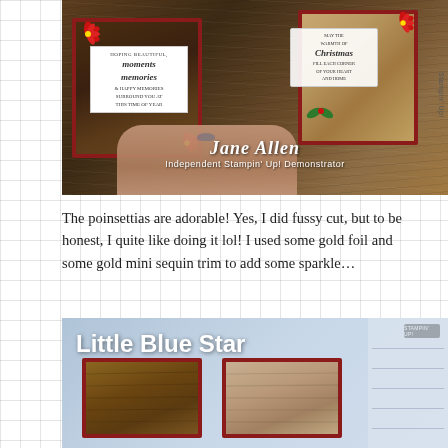[Figure (photo): Two handmade Christmas cards with wood grain background, red poinsettia flowers, held in hand. Cards feature stamped text including 'moments memories' and 'Christmas'. Watermark reads 'Jane Allen, Independent Stampin' Up! Demonstrator'.]
The poinsettias are adorable! Yes, I did fussy cut, but to be honest, I quite like doing it lol! I used some gold foil and some gold mini sequin trim to add some sparkle...
[Figure (photo): Bottom photo showing 'Little Blue Star' title text over two card bases with wood grain paper on red card stock, on a cutting mat background.]